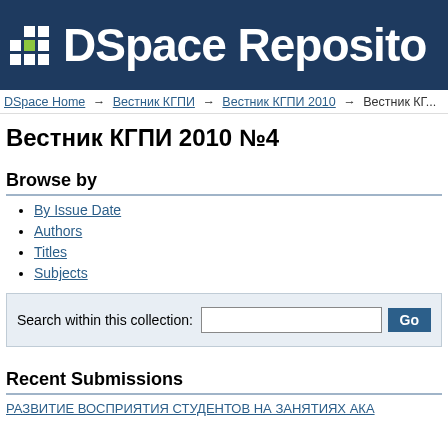[Figure (logo): DSpace Repository logo — dark navy banner with grid dot logo (green square accent) and white text 'DSpace Reposito...']
DSpace Home → Вестник КГПИ → Вестник КГПИ 2010 → Вестник КГ...
Вестник КГПИ 2010 №4
Browse by
By Issue Date
Authors
Titles
Subjects
Search within this collection: [input] Go
Recent Submissions
РАЗВИТИЕ ВОСПРИЯТИЯ СТУДЕНТОВ НА ЗАНЯТИЯХ АКА...